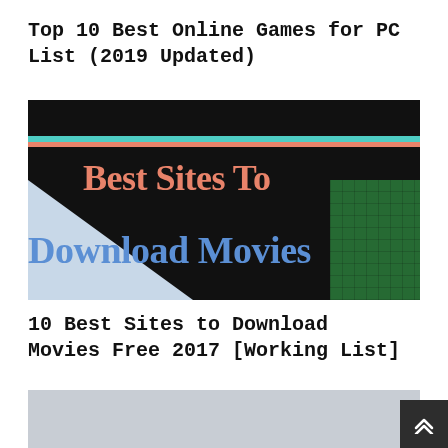Top 10 Best Online Games for PC List (2019 Updated)
[Figure (illustration): Thumbnail image with dark background, teal and salmon horizontal bars near top, light blue triangle shape on lower left, green grid square on lower right. Text reads 'Best Sites To' in salmon/coral color and 'Download Movies' in blue color.]
10 Best Sites to Download Movies Free 2017 [Working List]
[Figure (photo): Partially visible grey/silver thumbnail image at the bottom of the page, cut off.]